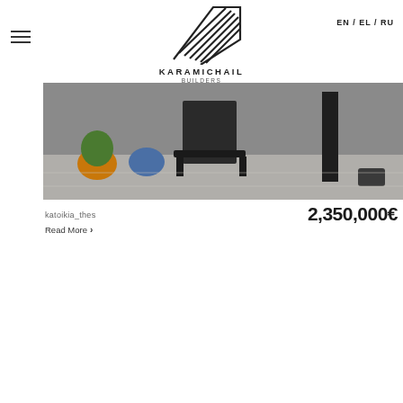[Figure (logo): Karamichail Builders Developers logo with diagonal lines graphic]
EN / EL / RU
[Figure (photo): Exterior photo of a property showing outdoor furniture (chair, plants) on a terrace or balcony]
katoikia_thes
2,350,000€
Read More >